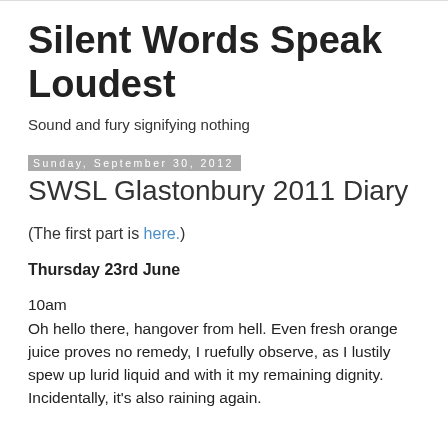Silent Words Speak Loudest
Sound and fury signifying nothing
Sunday, September 30, 2012
SWSL Glastonbury 2011 Diary
(The first part is here.)
Thursday 23rd June
10am
Oh hello there, hangover from hell. Even fresh orange juice proves no remedy, I ruefully observe, as I lustily spew up lurid liquid and with it my remaining dignity. Incidentally, it's also raining again.